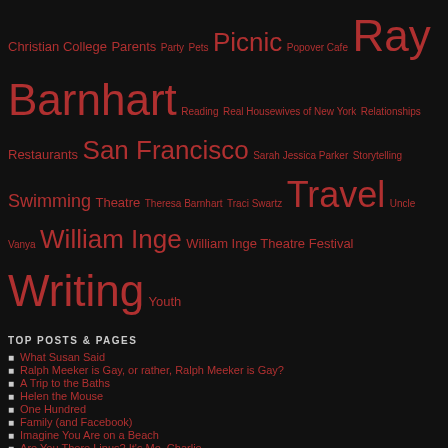Christian College Parents Party Pets Picnic Popover Cafe Ray Barnhart Reading Real Housewives of New York Relationships Restaurants San Francisco Sarah Jessica Parker Storytelling Swimming Theatre Theresa Barnhart Traci Swartz Travel Uncle Vanya William Inge William Inge Theatre Festival Writing Youth
TOP POSTS & PAGES
What Susan Said
Ralph Meeker is Gay, or rather, Ralph Meeker is Gay?
A Trip to the Baths
Helen the Mouse
One Hundred
Family (and Facebook)
Imagine You Are on a Beach
Are You There Linus? It's Me, Charlie.
Happiness
They Can't Take That Away From Me
FOLLOW BLOG VIA EMAIL
Enter your email address to follow this blog and receive notifications